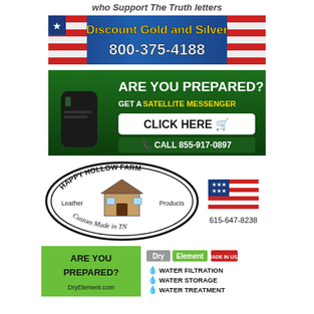Who Support The Truth Letters
[Figure (advertisement): Discount Gold and Silver ad with American flag imagery. Text: 'Discount Gold and Silver' and '800-375-4188']
[Figure (advertisement): Satellite messenger ad on green background. Text: 'ARE YOU PREPARED? GET A SATELLITE MESSENGER CLICK HERE CALL 855-917-0897']
[Figure (advertisement): Happy Hollow Farm Leather Products oval logo with log cabin illustration. Text: 'HAPPY HOLLOW FARM Leather Products Custom Made in TN' with US flag and phone 615-647-8238]
[Figure (advertisement): Dry Element ad. Green panel: 'ARE YOU PREPARED? DryElement.com'. Right panel: 'Dry Element MADE IN USA WATER FILTRATION WATER STORAGE WATER TREATMENT']